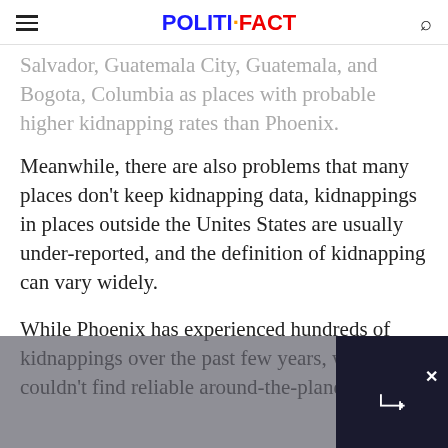POLITIFACT
Salvador, Guatemala City, Guatemala, and Bogota, Columbia as places with probable higher kidnapping rates than Phoenix.
Meanwhile, there are also problems that many places don't keep kidnapping data, kidnappings in places outside the Unites States are usually under-reported, and the definition of kidnapping can vary widely.
While Phoenix has experienced hundreds of kidnappings over the past few years, we couldn't find reliable around-the-planet